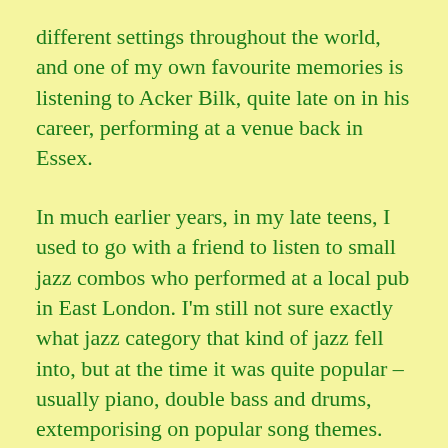different settings throughout the world, and one of my own favourite memories is listening to Acker Bilk, quite late on in his career, performing at a venue back in Essex.
In much earlier years, in my late teens, I used to go with a friend to listen to small jazz combos who performed at a local pub in East London. I'm still not sure exactly what jazz category that kind of jazz fell into, but at the time it was quite popular – usually piano, double bass and drums, extemporising on popular song themes.
My friend was an avid fan and collector of 'Deep South' blues singers, (Muddy Waters and the